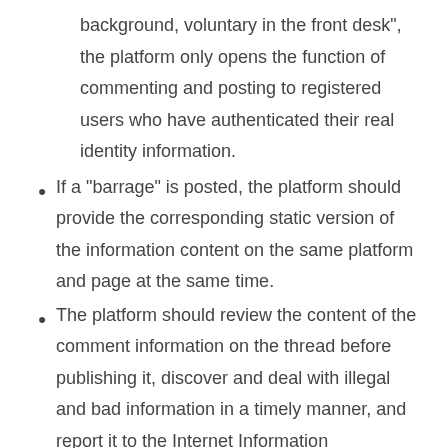background, voluntary in the front desk”, the platform only opens the function of commenting and posting to registered users who have authenticated their real identity information.
If a “barrage” is posted, the platform should provide the corresponding static version of the information content on the same platform and page at the same time.
The platform should review the content of the comment information on the thread before publishing it, discover and deal with illegal and bad information in a timely manner, and report it to the Internet Information Department.
Equipped with a review and editing team suitable for the scale of services to improve the